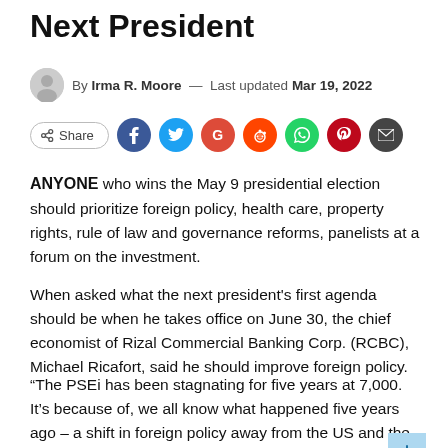Next President
By Irma R. Moore — Last updated Mar 19, 2022
[Figure (infographic): Social share bar with Share button and social media icons: Facebook, Twitter, Google, Reddit, WhatsApp, Pinterest, Email]
ANYONE who wins the May 9 presidential election should prioritize foreign policy, health care, property rights, rule of law and governance reforms, panelists at a forum on the investment.
When asked what the next president's first agenda should be when he takes office on June 30, the chief economist of Rizal Commercial Banking Corp. (RCBC), Michael Ricafort, said he should improve foreign policy.
“The PSEi has been stagnating for five years at 7,000. It’s because of, we all know what happened five years ago – a shift in foreign policy away from the US and the EU (Union Europe)